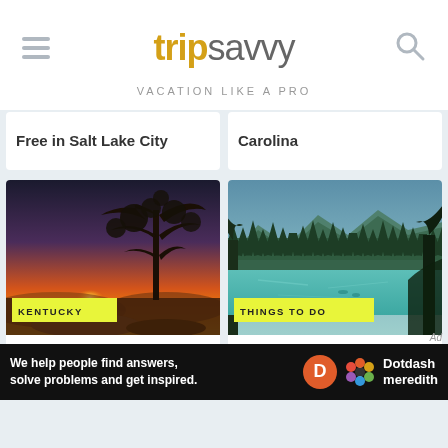tripsavvy – VACATION LIKE A PRO
Free in Salt Lake City
Carolina
[Figure (photo): Sunset landscape with lone tree silhouetted against orange sky, Kentucky]
KENTUCKY – The 12 Best State Parks in Kentucky
[Figure (photo): Turquoise mountain lake surrounded by pine forest, Grants Pass Oregon]
THINGS TO DO – Best Things to Do in Grants Pass, Oregon
[Figure (infographic): Dotdash Meredith ad bar: We help people find answers, solve problems and get inspired.]